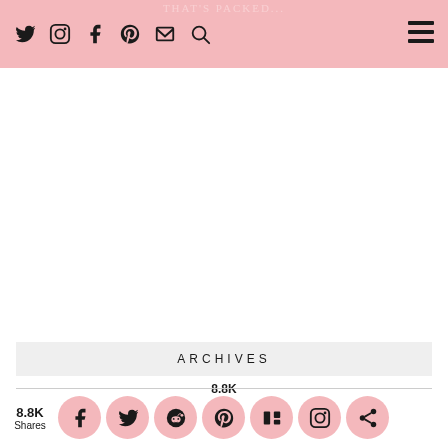THAT'S PACKED...
QUIRKY BEDSIDE TABLES FOR A UNIQUE BEDROOM
ARCHIVES
8.8K Shares